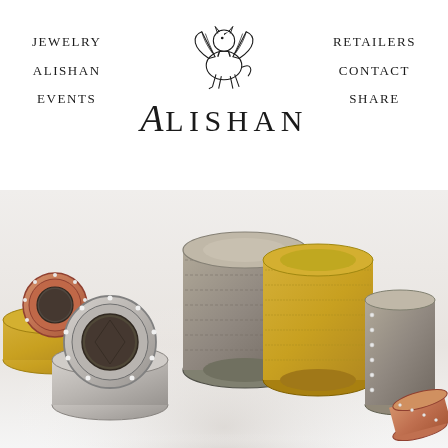JEWELRY
ALISHAN
EVENTS
[Figure (logo): Alishan brand logo with griffin heraldic animal above the word ALISHAN in serif lettering with a large italic A]
RETAILERS
CONTACT
SHARE
[Figure (photo): Collection of Alishan jewelry rings including rose gold halo rings with dark center stones, yellow gold textured band, wide grey/silver band, gold brushed band, and a thin eternity band with diamonds, displayed on white background]